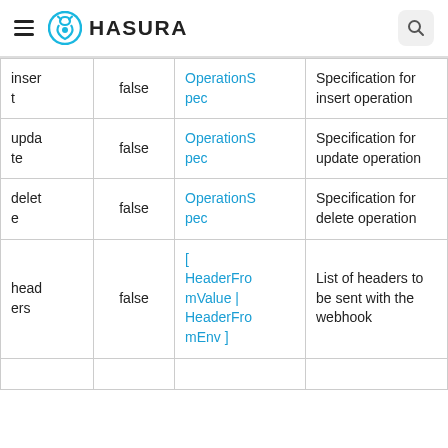HASURA
| key | required | type | description |
| --- | --- | --- | --- |
| insert | false | OperationSpec | Specification for insert operation |
| update | false | OperationSpec | Specification for update operation |
| delete | false | OperationSpec | Specification for delete operation |
| headers | false | [ HeaderFromValue | HeaderFromEnv ] | List of headers to be sent with the webhook |
|  |  |  |  |